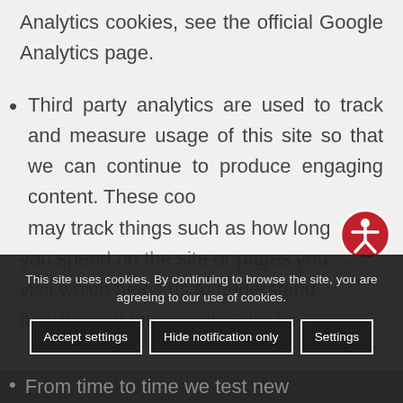Analytics cookies, see the official Google Analytics page.
Third party analytics are used to track and measure usage of this site so that we can continue to produce engaging content. These cookies may track things such as how long you spend on the site or pages you visit which helps us to understand how we can improve the site for
This site uses cookies. By continuing to browse the site, you are agreeing to our use of cookies.
Accept settings | Hide notification only | Settings
From time to time we test new